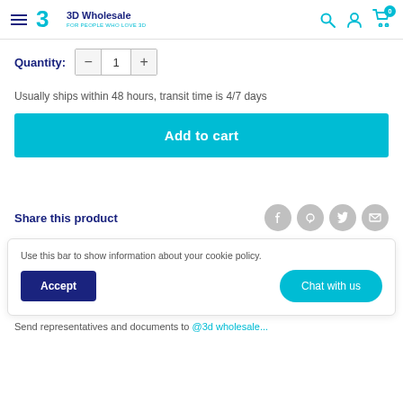3D Wholesale — FOR PEOPLE WHO LOVE 3D
Quantity: 1
Usually ships within 48 hours, transit time is 4/7 days
Add to cart
Share this product
Use this bar to show information about your cookie policy.
Accept
Chat with us
Send representatives and documents to @3dwholesale...